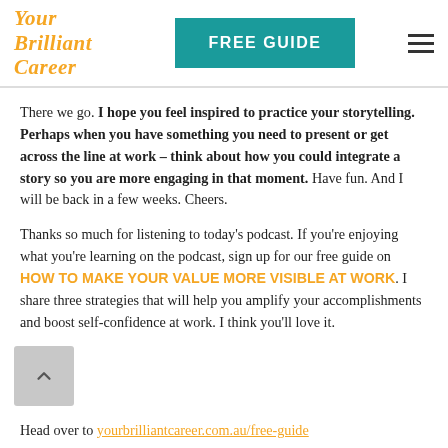Your Brilliant Career | FREE GUIDE
There we go. I hope you feel inspired to practice your storytelling. Perhaps when you have something you need to present or get across the line at work – think about how you could integrate a story so you are more engaging in that moment. Have fun. And I will be back in a few weeks. Cheers.
Thanks so much for listening to today's podcast. If you're enjoying what you're learning on the podcast, sign up for our free guide on HOW TO MAKE YOUR VALUE MORE VISIBLE AT WORK. I share three strategies that will help you amplify your accomplishments and boost self-confidence at work. I think you'll love it.
Head over to yourbrilliantcareer.com.au/free-guide